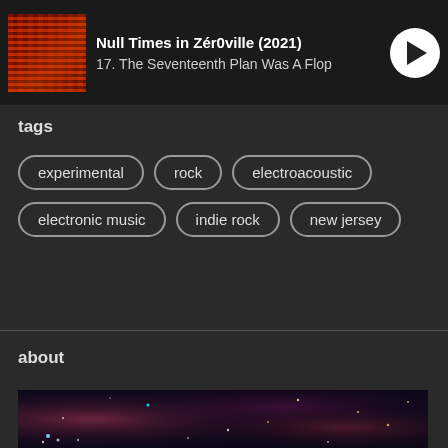Null Times in Zér0ville (2021) — 17. The Seventeenth Plan Was A Flop
tags
experimental
rock
electroacoustic
electronic music
indie rock
new jersey
about
[Figure (photo): Space/nebula image with stars and colorful cosmic clouds in dark purple, red, and brown hues with scattered bright star points]